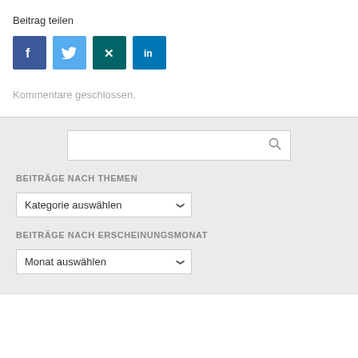Beitrag teilen
[Figure (infographic): Four social media share buttons: Facebook (blue), Twitter (light blue), Xing (teal), LinkedIn (blue)]
Kommentare geschlossen.
[Figure (screenshot): Search bar with magnifying glass icon on grey background]
BEITRÄGE NACH THEMEN
[Figure (screenshot): Dropdown selector labeled 'Kategorie auswählen']
BEITRÄGE NACH ERSCHEINUNGSMONAT
[Figure (screenshot): Dropdown selector labeled 'Monat auswählen']